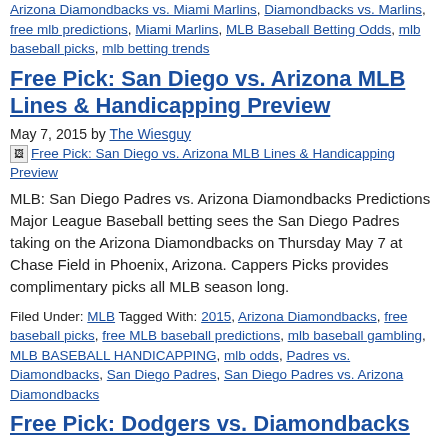Arizona Diamondbacks vs. Miami Marlins, Diamondbacks vs. Marlins, free mlb predictions, Miami Marlins, MLB Baseball Betting Odds, mlb baseball picks, mlb betting trends
Free Pick: San Diego vs. Arizona MLB Lines & Handicapping Preview
May 7, 2015 by The Wiesguy
[Figure (photo): Broken image placeholder linking to Free Pick: San Diego vs. Arizona MLB Lines & Handicapping Preview]
MLB: San Diego Padres vs. Arizona Diamondbacks Predictions Major League Baseball betting sees the San Diego Padres taking on the Arizona Diamondbacks on Thursday May 7 at Chase Field in Phoenix, Arizona. Cappers Picks provides complimentary picks all MLB season long.
Filed Under: MLB Tagged With: 2015, Arizona Diamondbacks, free baseball picks, free MLB baseball predictions, mlb baseball gambling, MLB BASEBALL HANDICAPPING, mlb odds, Padres vs. Diamondbacks, San Diego Padres, San Diego Padres vs. Arizona Diamondbacks
Free Pick: Dodgers vs. Diamondbacks